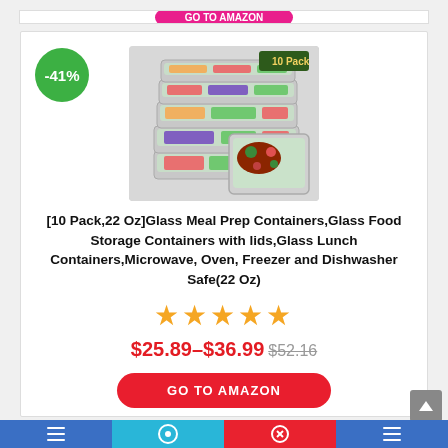[Figure (photo): Stack of 10 glass meal prep containers with lids filled with colorful food items, with a green '10 Pack' badge in top right corner]
[Figure (other): Green circular discount badge showing -41%]
[10 Pack,22 Oz]Glass Meal Prep Containers,Glass Food Storage Containers with lids,Glass Lunch Containers,Microwave, Oven, Freezer and Dishwasher Safe(22 Oz)
★★★★★
$25.89–$36.99 $52.16